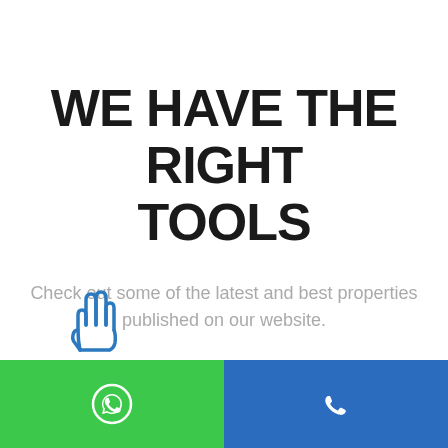WE HAVE THE RIGHT TOOLS
Check out some of the latest and best properties published on our website.
[Figure (illustration): Blue rabbit/peace-hand icon in outline style, partially visible at bottom left]
[Figure (illustration): Green footer button with WhatsApp phone icon (circle with phone handset)]
[Figure (illustration): Blue footer button with phone handset icon]